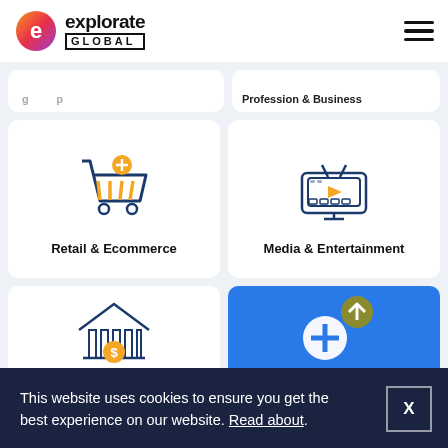[Figure (logo): Explorate Global logo with colorful circular 'e' icon and text]
[Figure (illustration): Hamburger menu icon (three horizontal lines)]
Profession & Business
[Figure (illustration): Shopping cart icon with plus badge in orange and dark blue]
Retail & Ecommerce
[Figure (illustration): Television/media screen icon in dark blue with play button]
Media & Entertainment
[Figure (illustration): Bank/finance building icon with dollar sign]
[Figure (illustration): Blue card with white plus icon and olive/yellow upload arrow circle]
This website uses cookies to ensure you get the best experience on our website. Read about.